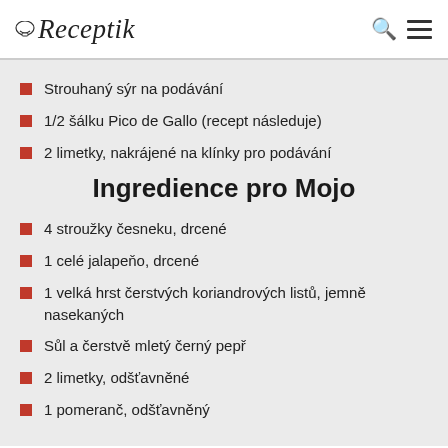Receptik
Strouhaný sýr na podávání
1/2 šálku Pico de Gallo (recept následuje)
2 limetky, nakrájené na klínky pro podávání
Ingredience pro Mojo
4 stroužky česneku, drcené
1 celé jalapeňo, drcené
1 velká hrst čerstvých koriandrových listů, jemně nasekaných
Sůl a čerstvě mletý černý pepř
2 limetky, odšťavněné
1 pomeranč, odšťavněný